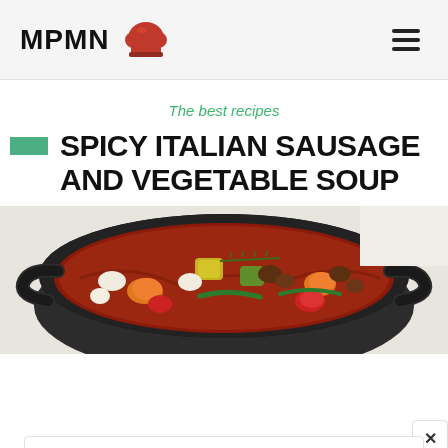MPMN [chef hat logo] [hamburger menu]
The best recipes
SPICY ITALIAN SAUSAGE AND VEGETABLE SOUP
[Figure (photo): Overhead view of a cast-iron pot filled with spicy Italian sausage and vegetable soup, showing colorful vegetables including zucchini, carrots, tomatoes, and green beans in a rich red broth]
[Figure (infographic): Petco advertisement: 'Get Your Pet Ready For Summer' with Petco logo, Petco brand name, and navigation arrow icon]
Get Your Pet Ready For Summer
Petco